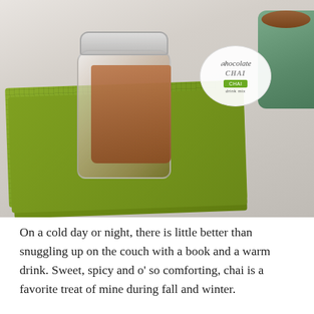[Figure (photo): A glass jar filled with chocolate chai drink mix, sitting on a folded green waffle-knit towel on a marble surface. The jar has a round white tag that reads 'Chocolate Chai drink mix' with a green label. A sage green mug is visible in the upper right corner. The Soap Queen watermark is in the lower left.]
On a cold day or night, there is little better than snuggling up on the couch with a book and a warm drink. Sweet, spicy and o' so comforting, chai is a favorite treat of mine during fall and winter.